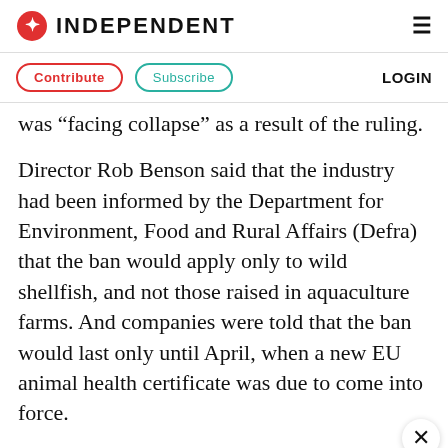INDEPENDENT
Contribute  Subscribe  LOGIN
was “facing collapse” as a result of the ruling.
Director Rob Benson said that the industry had been informed by the Department for Environment, Food and Rural Affairs (Defra) that the ban would apply only to wild shellfish, and not those raised in aquaculture farms. And companies were told that the ban would last only until April, when a new EU animal health certificate was due to come into force.
Mr Benson said: “Our business relies almost